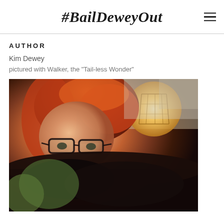#BailDeweyOut
AUTHOR
Kim Dewey
pictured with Walker, the "Tail-less Wonder"
[Figure (photo): Photo of Kim Dewey with glasses and red hair, pictured close-up with a dark-colored cat (Walker, the 'Tail-less Wonder'). A lamp with a cage-style shade is visible in the background.]